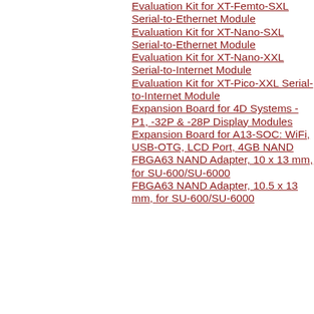Evaluation Kit for XT-Femto-SXL Serial-to-Ethernet Module
Evaluation Kit for XT-Nano-SXL Serial-to-Ethernet Module
Evaluation Kit for XT-Nano-XXL Serial-to-Internet Module
Evaluation Kit for XT-Pico-XXL Serial-to-Internet Module
Expansion Board for 4D Systems -P1, -32P & -28P Display Modules
Expansion Board for A13-SOC: WiFi, USB-OTG, LCD Port, 4GB NAND
FBGA63 NAND Adapter, 10 x 13 mm, for SU-600/SU-6000
FBGA63 NAND Adapter, 10.5 x 13 mm, for SU-600/SU-6000